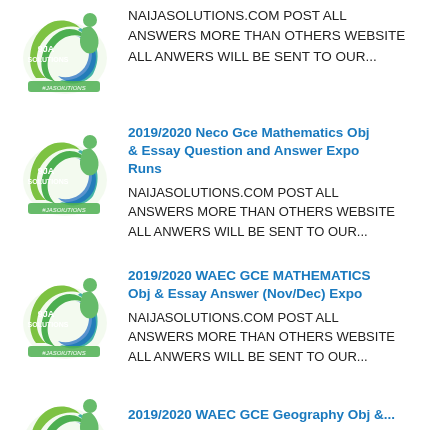NAIJASOLUTIONS.COM POST ALL ANSWERS MORE THAN OTHERS WEBSITE ALL ANWERS WILL BE SENT TO OUR...
[Figure (logo): 9JA Solutions logo - green circular design with figure and text '9JA SOLUTIONS' and '#JASOIUTIONS' at bottom]
2019/2020 Neco Gce Mathematics Obj & Essay Question and Answer Expo Runs — NAIJASOLUTIONS.COM POST ALL ANSWERS MORE THAN OTHERS WEBSITE ALL ANWERS WILL BE SENT TO OUR...
[Figure (logo): 9JA Solutions logo - green circular design with figure and text '9JA SOLUTIONS' and '#JASOIUTIONS' at bottom]
2019/2020 WAEC GCE MATHEMATICS Obj & Essay Answer (Nov/Dec) Expo — NAIJASOLUTIONS.COM POST ALL ANSWERS MORE THAN OTHERS WEBSITE ALL ANWERS WILL BE SENT TO OUR...
[Figure (logo): 9JA Solutions logo - green circular design with figure and text '9JA SOLUTIONS' and '#JASOIUTIONS' at bottom]
2019/2020 WAEC GCE Geography Obj &...